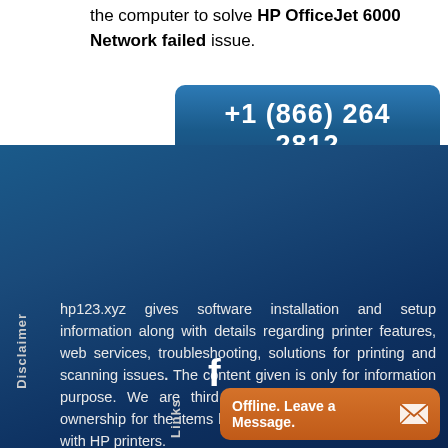the computer to solve HP OfficeJet 6000 Network failed issue.
[Figure (other): Phone number button with dark blue background showing +1 (866) 264 2812]
Disclaimer
hp123.xyz gives software installation and setup information along with details regarding printer features, web services, troubleshooting, solutions for printing and scanning issues. The content given is only for information purpose. We are third party service don't have any ownership for the items listed in the website and no bond with HP printers.
[Figure (other): Facebook icon (f logo) in white]
Links
[Figure (other): Offline chat widget button with orange background showing 'Offline. Leave a Message.' with envelope icon]